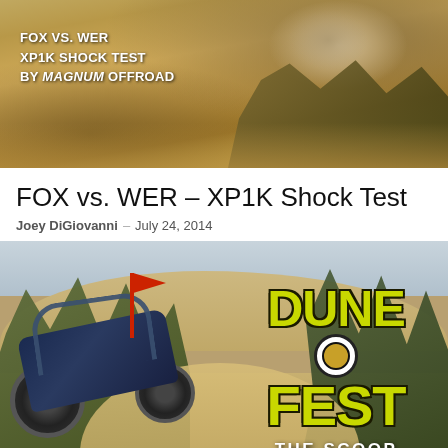[Figure (photo): Aerial/action photo of an off-road vehicle kicking up dust in sandy desert terrain, with text overlay reading FOX VS. WER XP1K SHOCK TEST BY MAGNUM OFFROAD]
FOX vs. WER – XP1K Shock Test
Joey DiGiovanni – July 24, 2014
[Figure (photo): Off-road buggy climbing a sandy dune hill with vegetation on the sides, red flag visible, and Dune Fest logo with 'THE SCOOP' text on the right side]